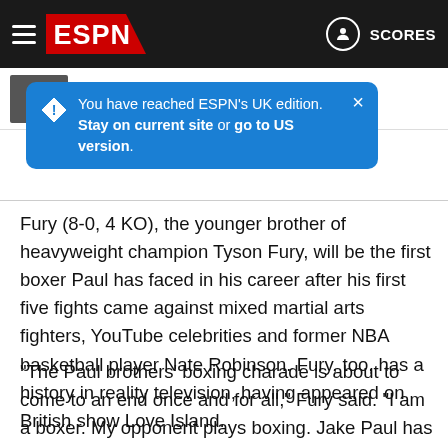ESPN — hamburger menu, ESPN logo, SCORES button
[Figure (screenshot): Blue notification tooltip: 'You have reached ESPN's UK edition. Stay on current site or go to US version.' with close button X]
…ce Crawford and more!
70d
Fury (8-0, 4 KO), the younger brother of heavyweight champion Tyson Fury, will be the first boxer Paul has faced in his career after his first five fights came against mixed martial arts fighters, YouTube celebrities and former NBA basketball player Nate Robinson. Fury, too, has a history in reality television, having appeared on British show Love Island.
"The Paul brothers' boxing charade is about to come to an end once and for all," Fury said. "I am a boxer. My opponent plays boxing. Jake Paul has been dressed up to look like a boxer against retirees from other sports. On August 6, I will show the